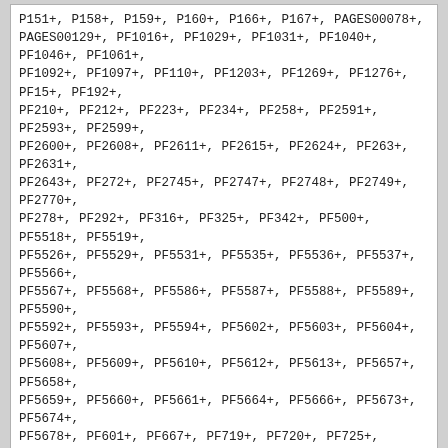P151+, P158+, P159+, P160+, P166+, P167+, PAGES00078+, PAGES00129+, PF1016+, PF1029+, PF1031+, PF1040+, PF1046+, PF1061+, PF1092+, PF1097+, PF110+, PF1203+, PF1269+, PF1276+, PF15+, PF192+, PF210+, PF212+, PF223+, PF234+, PF258+, PF2591+, PF2593+, PF2599+, PF2600+, PF2608+, PF2611+, PF2615+, PF2624+, PF263+, PF2631+, PF2643+, PF272+, PF2745+, PF2747+, PF2748+, PF2749+, PF2770+, PF278+, PF292+, PF316+, PF325+, PF342+, PF500+, PF5518+, PF5519+, PF5526+, PF5529+, PF5531+, PF5535+, PF5536+, PF5537+, PF5566+, PF5567+, PF5568+, PF5586+, PF5587+, PF5588+, PF5589+, PF5590+, PF5592+, PF5593+, PF5594+, PF5602+, PF5603+, PF5604+, PF5607+, PF5608+, PF5609+, PF5610+, PF5612+, PF5613+, PF5657+, PF5658+, PF5659+, PF5660+, PF5661+, PF5664+, PF5666+, PF5673+, PF5674+, PF5678+, PF601+, PF667+, PF719+, PF720+, PF725+, PF7443+, PF7444+, PF7445+, PF7453+, PF7457+, PF7458+, PF7460+, PF7463+, PF7464+, PF7465+, PF7466+, PF7480+, PF7481+, PF779+, PF796+, PF803+, PF815+, PF821+, PF840+, PF844+, PF892+, PF937+, PF951+, PF954+, PF970+, V186+, V189+, V205+, V52+, V9+, Z526+
sepheroni
Is there a website where you can upload your Y chromossome raw data and match against other users to try to find a trail? I saw only some for autosomal data.
Sile
Is there a website where you can upload your Y chromossome raw data and match against other users to try to find a trail? I saw only some for autosomal data.

I do not know what Adamo is talking about, but the only site which keeps up to date trees records is below
http://www.isogg.org/tree/ISOGG_HapgrpT.html

If its not in the tree and not in any notes on the page, then the marker has not been assigned ............. his marker from what I saw along the furthest branch